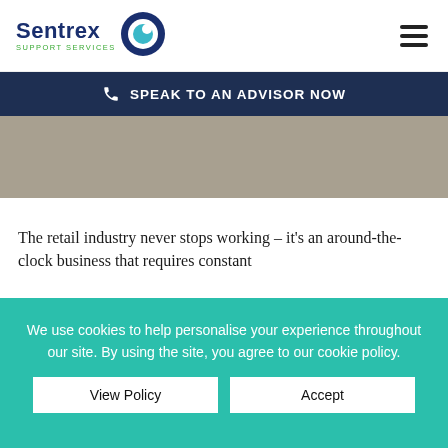[Figure (logo): Sentrex Support Services logo with circular icon]
SPEAK TO AN ADVISOR NOW
[Figure (photo): Hero background image, grayish-beige tone]
The retail industry never stops working – it's an around-the-clock business that requires constant
We use cookies to help personalise your experience throughout our site. By using the site, you agree to our cookie policy.
View Policy
Accept